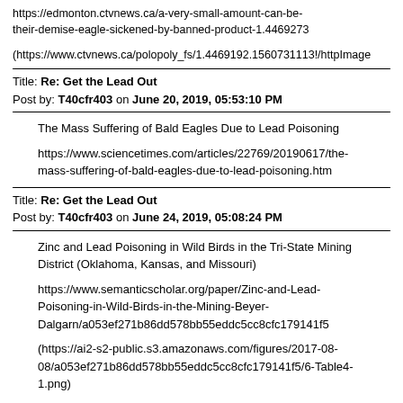https://edmonton.ctvnews.ca/a-very-small-amount-can-be-their-demise-eagle-sickened-by-banned-product-1.4469273
(https://www.ctvnews.ca/polopoly_fs/1.4469192.1560731113!/httpImage
Title: Re: Get the Lead Out
Post by: T40cfr403 on June 20, 2019, 05:53:10 PM
The Mass Suffering of Bald Eagles Due to Lead Poisoning
https://www.sciencetimes.com/articles/22769/20190617/the-mass-suffering-of-bald-eagles-due-to-lead-poisoning.htm
Title: Re: Get the Lead Out
Post by: T40cfr403 on June 24, 2019, 05:08:24 PM
Zinc and Lead Poisoning in Wild Birds in the Tri-State Mining District (Oklahoma, Kansas, and Missouri)
https://www.semanticscholar.org/paper/Zinc-and-Lead-Poisoning-in-Wild-Birds-in-the-Mining-Beyer-Dalgarn/a053ef271b86dd578bb55eddc5cc8cfc179141f5
(https://ai2-s2-public.s3.amazonaws.com/figures/2017-08-08/a053ef271b86dd578bb55eddc5cc8cfc179141f5/6-Table4-1.png)